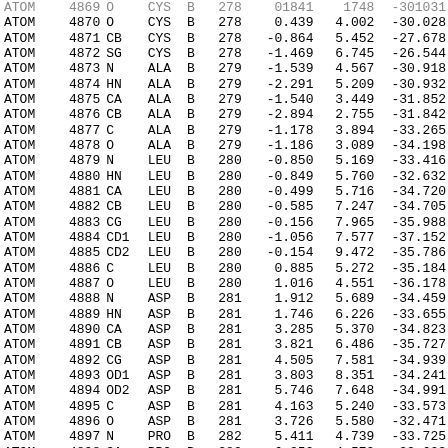| RECORD | NUM | ATOM | RES | CH | SEQ | X | Y | Z |
| --- | --- | --- | --- | --- | --- | --- | --- | --- |
| ATOM | 4869 | O | CYS | B | 278 | 0.439 | 4.002 | -30.028 |
| ATOM | 4870 | O | CYS | B | 278 | 0.439 | 4.002 | -30.028 |
| ATOM | 4871 | CB | CYS | B | 278 | -0.864 | 5.452 | -27.678 |
| ATOM | 4872 | SG | CYS | B | 278 | -1.469 | 6.745 | -26.544 |
| ATOM | 4873 | N | ALA | B | 279 | -1.539 | 4.567 | -30.918 |
| ATOM | 4874 | HN | ALA | B | 279 | -2.291 | 5.209 | -30.932 |
| ATOM | 4875 | CA | ALA | B | 279 | -1.540 | 3.449 | -31.852 |
| ATOM | 4876 | CB | ALA | B | 279 | -2.894 | 2.755 | -31.842 |
| ATOM | 4877 | C | ALA | B | 279 | -1.178 | 3.894 | -33.265 |
| ATOM | 4878 | O | ALA | B | 279 | -1.186 | 3.089 | -34.198 |
| ATOM | 4879 | N | LEU | B | 280 | -0.850 | 5.169 | -33.416 |
| ATOM | 4880 | HN | LEU | B | 280 | -0.849 | 5.760 | -32.632 |
| ATOM | 4881 | CA | LEU | B | 280 | -0.499 | 5.716 | -34.720 |
| ATOM | 4882 | CB | LEU | B | 280 | -0.585 | 7.247 | -34.705 |
| ATOM | 4883 | CG | LEU | B | 280 | -0.156 | 7.965 | -35.988 |
| ATOM | 4884 | CD1 | LEU | B | 280 | -1.056 | 7.577 | -37.152 |
| ATOM | 4885 | CD2 | LEU | B | 280 | -0.154 | 9.472 | -35.786 |
| ATOM | 4886 | C | LEU | B | 280 | 0.885 | 5.272 | -35.184 |
| ATOM | 4887 | O | LEU | B | 280 | 1.016 | 4.551 | -36.178 |
| ATOM | 4888 | N | ASP | B | 281 | 1.912 | 5.689 | -34.459 |
| ATOM | 4889 | HN | ASP | B | 281 | 1.746 | 6.226 | -33.655 |
| ATOM | 4890 | CA | ASP | B | 281 | 3.285 | 5.370 | -34.823 |
| ATOM | 4891 | CB | ASP | B | 281 | 3.821 | 6.486 | -35.727 |
| ATOM | 4892 | CG | ASP | B | 281 | 4.505 | 7.581 | -34.939 |
| ATOM | 4893 | OD1 | ASP | B | 281 | 3.803 | 8.351 | -34.241 |
| ATOM | 4894 | OD2 | ASP | B | 281 | 5.746 | 7.648 | -34.991 |
| ATOM | 4895 | C | ASP | B | 281 | 4.163 | 5.240 | -33.573 |
| ATOM | 4896 | O | ASP | B | 281 | 3.726 | 5.580 | -32.471 |
| ATOM | 4897 | N | PRO | B | 282 | 5.411 | 4.739 | -33.725 |
| ATOM | 4898 | CA | PRO | B | 282 | 6.350 | 4.572 | -32.603 |
| ATOM | 4899 | CB | PRO | B | 282 | 7.634 | 4.072 | -33.274 |